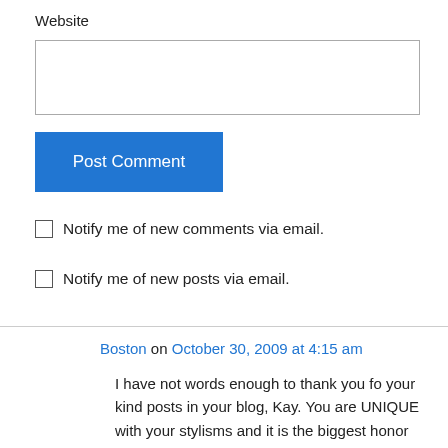Website
[input box]
Post Comment
Notify me of new comments via email.
Notify me of new posts via email.
Boston on October 30, 2009 at 4:15 am
I have not words enough to thank you fo your kind posts in your blog, Kay. You are UNIQUE with your stylisms and it is the biggest honor to be posted on your blog.Sincerely anad happily yours,Boston Westland